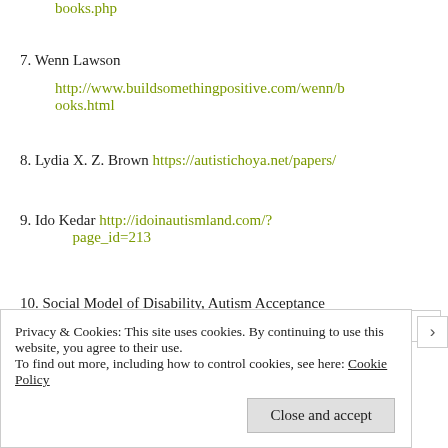books.php
7. Wenn Lawson http://www.buildsomethingpositive.com/wenn/books.html
8. Lydia X. Z. Brown https://autistichoya.net/papers/
9. Ido Kedar http://idoinautismland.com/?page_id=213
10. Social Model of Disability, Autism Acceptance
Privacy & Cookies: This site uses cookies. By continuing to use this website, you agree to their use. To find out more, including how to control cookies, see here: Cookie Policy
Close and accept